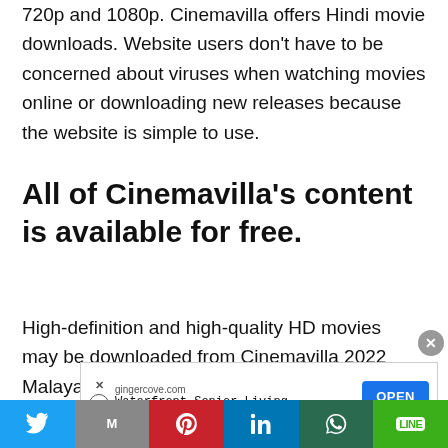720p and 1080p. Cinemavilla offers Hindi movie downloads. Website users don't have to be concerned about viruses when watching movies online or downloading new releases because the website is simple to use.
All of Cinemavilla's content is available for free.
High-definition and high-quality HD movies may be downloaded from Cinemavilla 2022 Malayalam movie download websites. Pirated films are added
[Figure (infographic): Advertisement banner: gingercove.com - Waterfront Senior Living with OPEN button]
[Figure (infographic): Social share bar with Twitter, Gmail, Pinterest, LinkedIn, WhatsApp, LINE buttons]